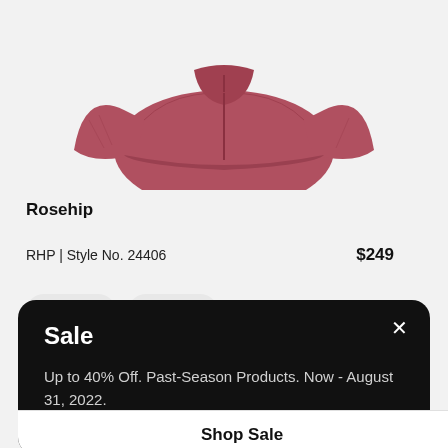[Figure (photo): Partial view of a rosehip-colored athletic jacket/top, showing the upper torso and sleeves, on a light gray background]
Rosehip
RHP | Style No. 24406    $249
Sale
Up to 40% Off. Past-Season Products. Now - August 31, 2022.
Shop Sale